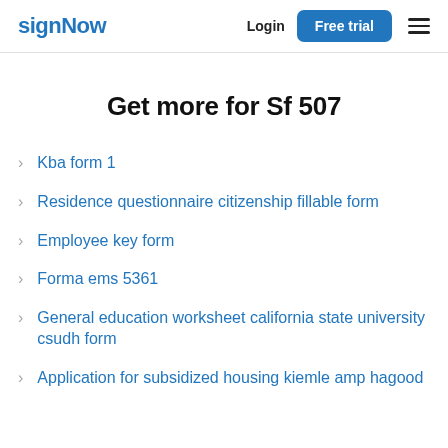signNow | Login | Free trial
Get more for Sf 507
Kba form 1
Residence questionnaire citizenship fillable form
Employee key form
Forma ems 5361
General education worksheet california state university csudh form
Application for subsidized housing kiemle amp hagood